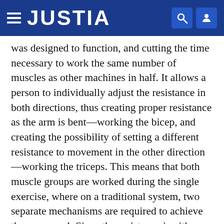JUSTIA
was designed to function, and cutting the time necessary to work the same number of muscles as other machines in half. It allows a person to individually adjust the resistance in both directions, thus creating proper resistance as the arm is bent—working the bicep, and creating the possibility of setting a different resistance to movement in the other direction—working the triceps. This means that both muscle groups are worked during the single exercise, where on a traditional system, two separate mechanisms are required to achieve the same goal. Since the resistance in either direction operates independently, one can take into account that opposing muscle groups often have different strengths. As an example, one could set the